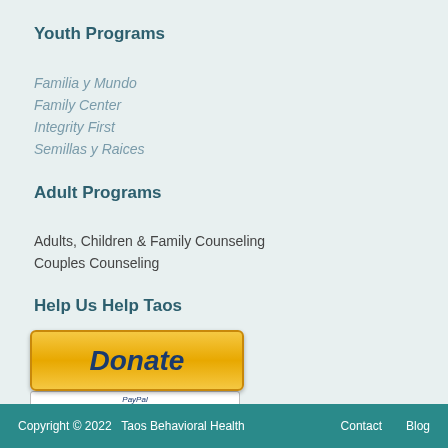Youth Programs
Familia y Mundo
Family Center
Integrity First
Semillas y Raices
Adult Programs
Adults, Children & Family Counseling
Couples Counseling
Help Us Help Taos
[Figure (other): PayPal Donate button with credit card logos]
Your contribution is tax deductible to the fullest extent of the law.
Copyright © 2022   Taos Behavioral Health   Contact   Blog